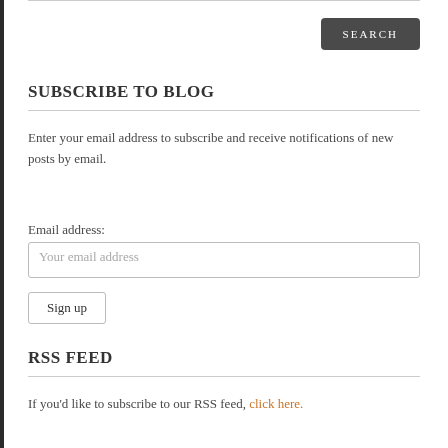SEARCH
SUBSCRIBE TO BLOG
Enter your email address to subscribe and receive notifications of new posts by email.
Email address:
Your email address
Sign up
RSS FEED
If you'd like to subscribe to our RSS feed, click here.